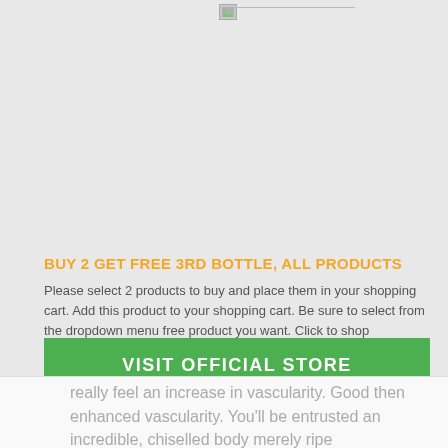[Figure (photo): Broken/unloaded product image placeholder on grey background]
BUY 2 GET FREE 3RD BOTTLE, ALL PRODUCTS
Please select 2 products to buy and place them in your shopping cart. Add this product to your shopping cart. Be sure to select from the dropdown menu free product you want. Click to shop
VISIT OFFICIAL STORE
really feel an increase inascular. Good then enhanced vascularity. You'll be entrusted an incredible, chiselled body merely ripe